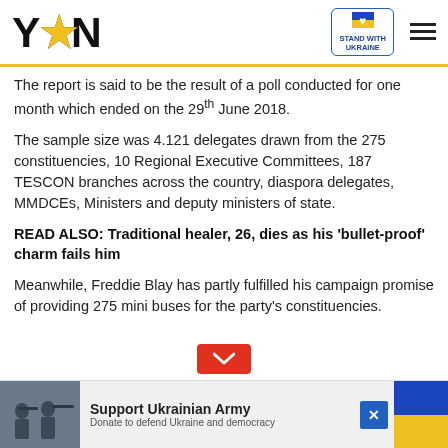YEN — Stand With Ukraine
The report is said to be the result of a poll conducted for one month which ended on the 29th June 2018.
The sample size was 4.121 delegates drawn from the 275 constituencies, 10 Regional Executive Committees, 187 TESCON branches across the country, diaspora delegates, MMDCEs, Ministers and deputy ministers of state.
READ ALSO: Traditional healer, 26, dies as his 'bullet-proof' charm fails him
Meanwhile, Freddie Blay has partly fulfilled his campaign promise of providing 275 mini buses for the party's constituencies.
[Figure (infographic): Support Ukrainian Army advertisement banner with soldiers image, blue and yellow Ukrainian flag colors, and X close button]